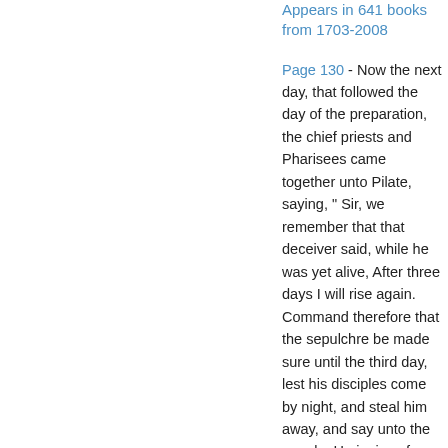Appears in 641 books from 1703-2008
Page 130 - Now the next day, that followed the day of the preparation, the chief priests and Pharisees came together unto Pilate, saying, " Sir, we remember that that deceiver said, while he was yet alive, After three days I will rise again. Command therefore that the sepulchre be made sure until the third day, lest his disciples come by night, and steal him away, and say unto the people, He is risen from the dead : so the last error shall be worse than the first.